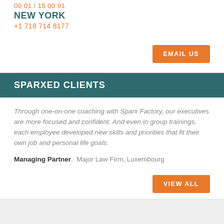00 01 / 15 00 91
NEW YORK
+1 718 714 8177
EMAIL US
SPARXED CLIENTS
Through one-on-one coaching with Sparx Factory, our executives are more focused and confident. And even in group trainings, each employee developed new skills and priorities that fit their own job and personal life goals.
Managing Partner,  Major Law Firm, Luxembourg
VIEW ALL